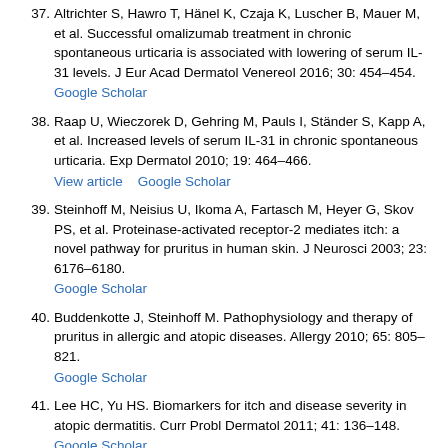37. Altrichter S, Hawro T, Hänel K, Czaja K, Luscher B, Mauer M, et al. Successful omalizumab treatment in chronic spontaneous urticaria is associated with lowering of serum IL-31 levels. J Eur Acad Dermatol Venereol 2016; 30: 454–454. Google Scholar
38. Raap U, Wieczorek D, Gehring M, Pauls I, Ständer S, Kapp A, et al. Increased levels of serum IL-31 in chronic spontaneous urticaria. Exp Dermatol 2010; 19: 464–466. View article    Google Scholar
39. Steinhoff M, Neisius U, Ikoma A, Fartasch M, Heyer G, Skov PS, et al. Proteinase-activated receptor-2 mediates itch: a novel pathway for pruritus in human skin. J Neurosci 2003; 23: 6176–6180. Google Scholar
40. Buddenkotte J, Steinhoff M. Pathophysiology and therapy of pruritus in allergic and atopic diseases. Allergy 2010; 65: 805–821. Google Scholar
41. Lee HC, Yu HS. Biomarkers for itch and disease severity in atopic dermatitis. Curr Probl Dermatol 2011; 41: 136–148. Google Scholar